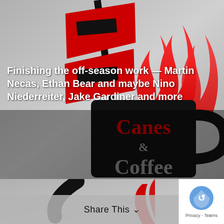[Figure (illustration): Canes and Coffee podcast logo: a black coffee mug with the word 'Canes' in red and 'Coffee' in gray on it, steam rising in red flame shapes, and a red hockey stick or flag with black rectangles on a gray gradient background]
Finishing the off-season work — Martin Necas, Ethan Bear and maybe Nino Niederreiter, Jake Gardiner and more
[Figure (illustration): Partial view of second Canes and Coffee podcast logo thumbnail at bottom of page]
Share This
Privacy - Terms